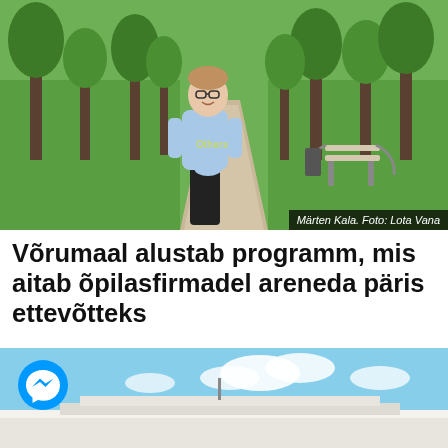[Figure (photo): Young man with glasses wearing a light blue 'Others' sweatshirt standing on a park path with trees and benches in the background]
Märten Kala. Foto: Lota Vana
Võrumaal alustab programm, mis aitab õpilasfirmadel areneda päris ettevõtteks
[Figure (photo): Building with white roof against blue sky with clouds, with a Facebook Messenger icon overlay in bottom left]